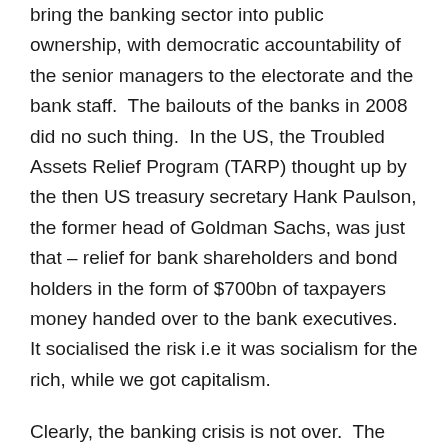bring the banking sector into public ownership, with democratic accountability of the senior managers to the electorate and the bank staff.  The bailouts of the banks in 2008 did no such thing.  In the US, the Troubled Assets Relief Program (TARP) thought up by the then US treasury secretary Hank Paulson, the former head of Goldman Sachs, was just that – relief for bank shareholders and bond holders in the form of $700bn of taxpayers money handed over to the bank executives.  It socialised the risk i.e it was socialism for the rich, while we got capitalism.
Clearly, the banking crisis is not over.  The bailout of the banks in 2008 left the state sector around the world with huge budget deficits and debts, which the very same bailed out banks are now refusing to service except at very high interest rates.  So the likes of